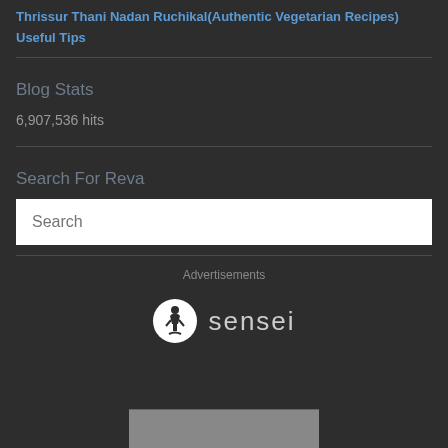Thrissur Thani Nadan Ruchikal(Authentic Vegetarian Recipes)
Useful Tips
Blog Stats
6,907,536 hits
Search For Reva
[Figure (screenshot): Search input box with placeholder text 'Search']
Advertisements
[Figure (logo): Sensei logo — circular icon with tree/figure silhouette and the word 'sensei' in light gray text]
[Figure (photo): Partial photo strip at bottom of page, dark gray/brown tones]